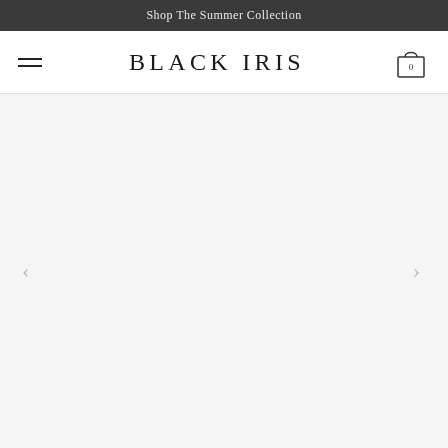Shop The Summer Collection
BLACK IRIS
[Figure (screenshot): E-commerce website header with hamburger menu, BLACK IRIS brand name, shopping bag icon with 0 items, and a large empty/loading product image area with left and right navigation arrows]